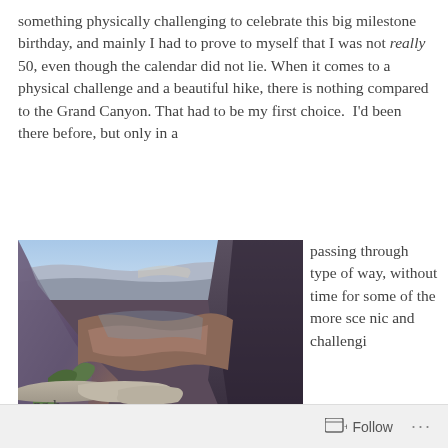something physically challenging to celebrate this big milestone birthday, and mainly I had to prove to myself that I was not really 50, even though the calendar did not lie. When it comes to a physical challenge and a beautiful hike, there is nothing compared to the Grand Canyon. That had to be my first choice.  I'd been there before, but only in a passing through type of way, without time for some of the more scenic and challengi
[Figure (photo): Aerial view of the Grand Canyon showing deep canyon walls, rocky terrain, layered rock formations, sparse vegetation, and a wide canyon vista with blue sky.]
Follow ...